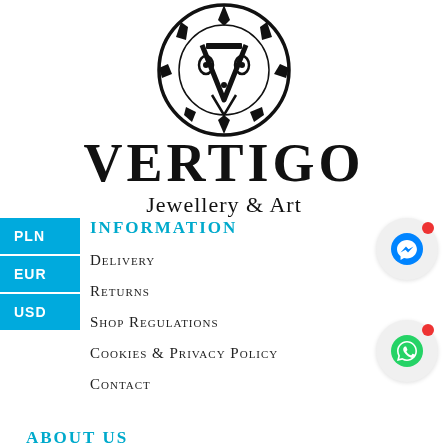[Figure (logo): Vertigo Jewellery & Art logo: circular tribal/geometric emblem with a V, above the brand name VERTIGO in large bold serif, and 'Jewellery & Art' in smaller serif below]
PLN
EUR
USD
INFORMATION
Delivery
Returns
Shop Regulations
Cookies & Privacy Policy
Contact
ABOUT US
[Figure (illustration): Facebook Messenger icon (blue lightning bolt in circle) with red notification dot]
[Figure (illustration): WhatsApp icon (white phone on green circle) with red notification dot]